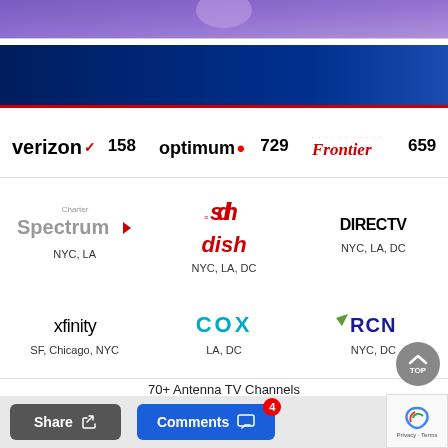[Figure (screenshot): Purple/blue gradient image strip at top of page]
WATCH NTD ON
verizon 158   optimum. 729   Frontier 659
Charter Spectrum — NYC, LA
dish — NYC, LA, DC
DIRECTV — NYC, LA, DC
xfinity — SF, Chicago, NYC
COX — LA, DC
RCN — NYC, DC
70+ Antenna TV Channels
Roku | Apple TV | Amazon Fire TV | Sony Smart TV
Share    Comments 4